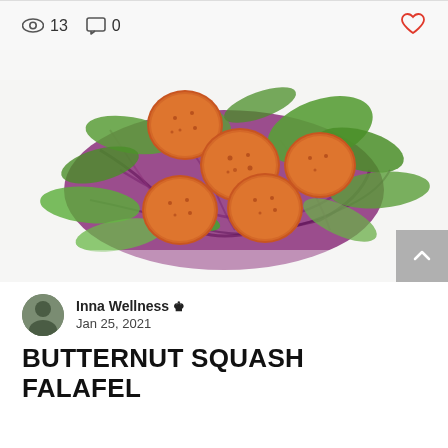13 views · 0 comments · like
[Figure (photo): Overhead photo of butternut squash falafel balls on a bed of arugula, snap peas, and shredded red cabbage on a white plate]
Inna Wellness · Jan 25, 2021
BUTTERNUT SQUASH FALAFEL